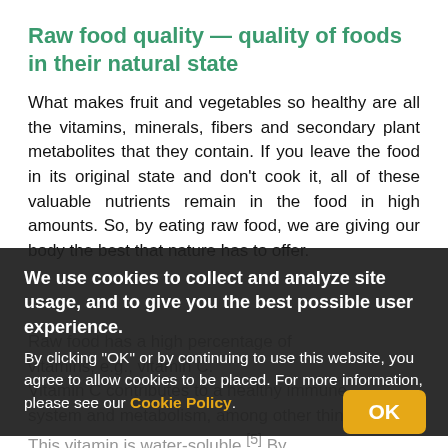Raw food quality — quality of foods in their natural state
What makes fruit and vegetables so healthy are all the vitamins, minerals, fibers and secondary plant metabolites that they contain. If you leave the food in its original state and don't cook it, all of these valuable nutrients remain in the food in high amounts. So, by eating raw food, we are giving our body the best that nature has to offer.
Raw food has a high percentage of vitamins, e.g., vitamin C. Vitamin C contributes to a healthy immune system and metabolism, among other things. This vitamin is water-soluble.[5] By cooking foods rich in vitamin C, like spinach or tomatoes,[6] you can quickly strip the food of nutrients, and its raw food quality is lost.
We use cookies to collect and analyze site usage, and to give you the best possible user experience. By clicking "OK" or by continuing to use this website, you agree to allow cookies to be placed. For more information, please see our Cookie Policy.